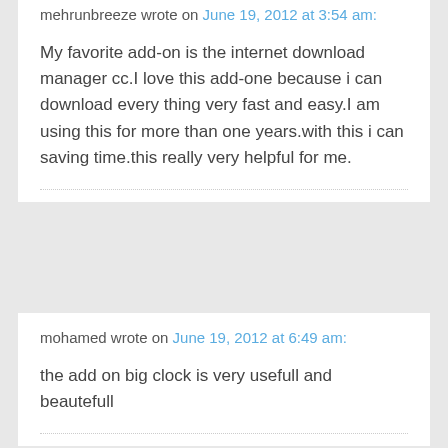mehrunbreeze wrote on June 19, 2012 at 3:54 am:
My favorite add-on is the internet download manager cc.I love this add-one because i can download every thing very fast and easy.I am using this for more than one years.with this i can saving time.this really very helpful for me.
mohamed wrote on June 19, 2012 at 6:49 am:
the add on big clock is very usefull and beautefull